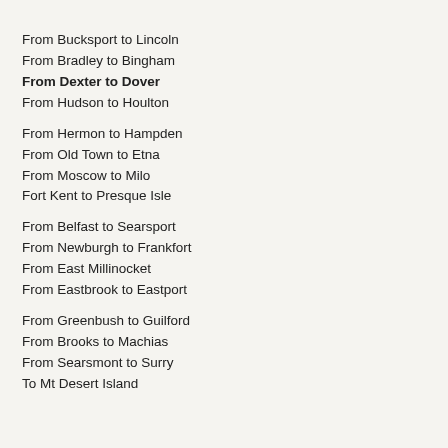From Bucksport to Lincoln
From Bradley to Bingham
From Dexter to Dover
From Hudson to Houlton
From Hermon to Hampden
From Old Town to Etna
From Moscow to Milo
Fort Kent to Presque Isle
From Belfast to Searsport
From Newburgh to Frankfort
From East Millinocket
From Eastbrook to Eastport
From Greenbush to Guilford
From Brooks to Machias
From Searsmont to Surry
To Mt Desert Island